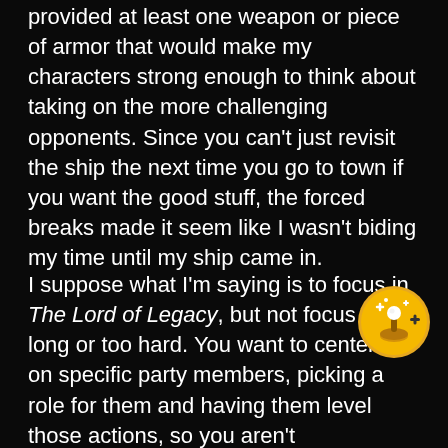provided at least one weapon or piece of armor that would make my characters strong enough to think about taking on the more challenging opponents. Since you can't just revisit the ship the next time you go to town if you want the good stuff, the forced breaks made it seem like I wasn't biding my time until my ship came in.
I suppose what I'm saying is to focus in The Lord of Legacy, but not focus too long or too hard. You want to center in on specific party members, picking a role for them and having them level those actions, so you aren't unnecessarily leveling seven people you can't possibly use at once. Especially
[Figure (illustration): Gold circular badge/icon with a joystick and sparkles, overlapping the text in the bottom right area]